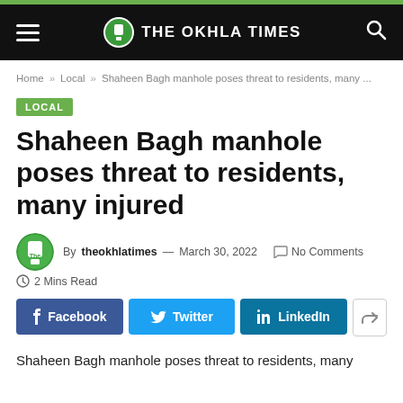THE OKHLA TIMES
Home » Local » Shaheen Bagh manhole poses threat to residents, many ...
LOCAL
Shaheen Bagh manhole poses threat to residents, many injured
By theokhlatimes — March 30, 2022   No Comments  2 Mins Read
Facebook  Twitter  LinkedIn
Shaheen Bagh manhole poses threat to residents, many